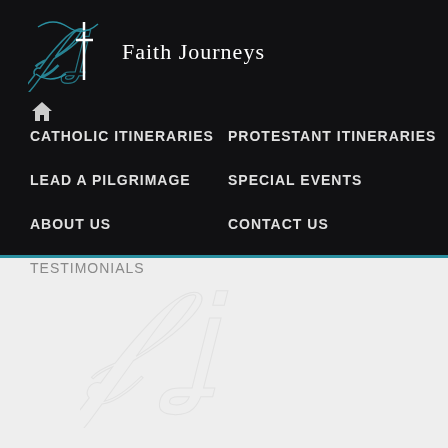[Figure (logo): Faith Journeys logo with stylized cursive FJ monogram in teal/dark colors and text 'Faith Journeys']
🏠 (home icon)
CATHOLIC ITINERARIES
PROTESTANT ITINERARIES
LEAD A PILGRIMAGE
SPECIAL EVENTS
ABOUT US
CONTACT US
TESTIMONIALS
[Figure (illustration): Faint watermark of the Faith Journeys cursive FJ monogram logo in light gray on the light background area]